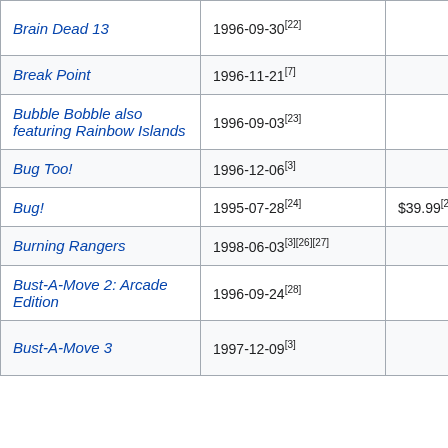| Title | Release Date | Price | Score |
| --- | --- | --- | --- |
| Brain Dead 13 | 1996-09-30[22] |  | T...1... |
| Break Point | 1996-11-21[7] |  | T |
| Bubble Bobble also featuring Rainbow Islands | 1996-09-03[23] |  | T |
| Bug Too! | 1996-12-06[3] |  | 8 |
| Bug! | 1995-07-28[24] | $39.99[25] | 8 |
| Burning Rangers | 1998-06-03[3][26][27] |  | 8 |
| Bust-A-Move 2: Arcade Edition | 1996-09-24[28] |  | T |
| Bust-A-Move 3 | 1997-12-09[3] |  | T...3... |